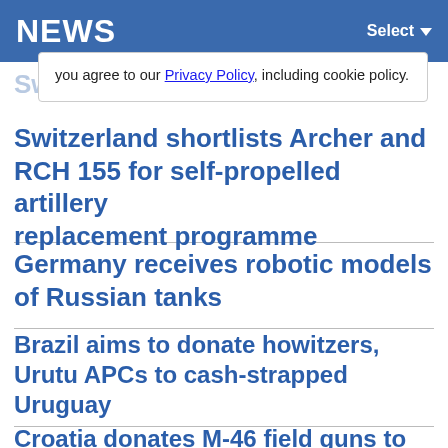NEWS  Select
you agree to our Privacy Policy, including cookie policy.
Switzerland shortlists Archer and RCH 155 for self-propelled artillery replacement programme
Germany receives robotic models of Russian tanks
Brazil aims to donate howitzers, Urutu APCs to cash-strapped Uruguay
Croatia donates M-46 field guns to Ukraine